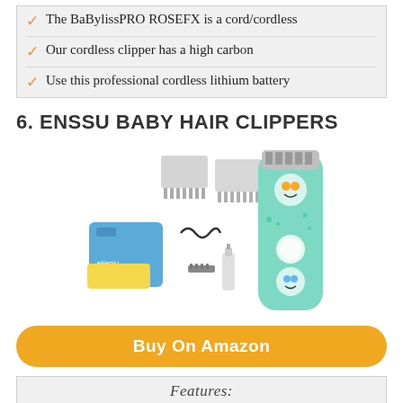✓ The BaBylissPRO ROSEFX is a cord/cordless
✓ Our cordless clipper has a high carbon
✓ Use this professional cordless lithium battery
6. ENSSU BABY HAIR CLIPPERS
[Figure (photo): ENSSU baby hair clipper product photo showing a mint green cordless clipper with cartoon baby designs, along with accessories including combs, a blue cape, charging cable, sponge, brush, and oil bottle]
Buy On Amazon
Features:
✓ Lower Noise：Advanceded noise reduction
✓ Safe and Comfortable：Special R-sharped